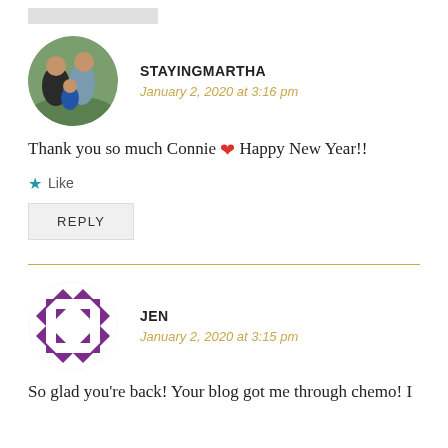[Figure (photo): Gray placeholder rectangle at top left]
[Figure (photo): Circular profile photo of a couple with a child, outdoors in greenery]
STAYINGMARTHA
January 2, 2020 at 3:16 pm
Thank you so much Connie ❤ Happy New Year!!
Like
REPLY
[Figure (logo): Circular purple quilt-pattern logo for Jen]
JEN
January 2, 2020 at 3:15 pm
So glad you're back! Your blog got me through chemo! I